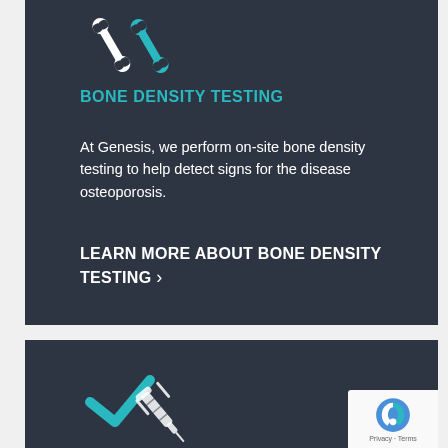[Figure (illustration): Bone icon with two bone shapes in white and teal on dark background]
BONE DENSITY TESTING
At Genesis, we perform on-site bone density testing to help detect signs for the disease osteoporosis.
LEARN MORE ABOUT BONE DENSITY TESTING >
[Figure (illustration): Injection/vaccine icon with teal checkmark and syringe on dark background]